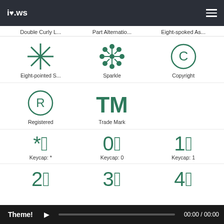i❤.ws
Double Curly L...
Part Alternatio...
Eight-spoked As...
[Figure (illustration): Eight-pointed star symbol (asterisk/sparkle)]
Eight-pointed S...
[Figure (illustration): Sparkle/snowflake symbol]
Sparkle
[Figure (illustration): Copyright symbol in circle]
Copyright
[Figure (illustration): Registered trademark symbol in circle]
Registered
[Figure (illustration): TM trademark symbol]
Trade Mark
[Figure (illustration): Keycap asterisk emoji *⃣]
Keycap: *
[Figure (illustration): Keycap 0 emoji 0⃣]
Keycap: 0
[Figure (illustration): Keycap 1 emoji 1⃣]
Keycap: 1
[Figure (illustration): Keycap 2 emoji 2⃣]
[Figure (illustration): Keycap 3 emoji 3⃣]
[Figure (illustration): Keycap 4 emoji 4⃣]
Theme! ▶ 00:00 / 00:00